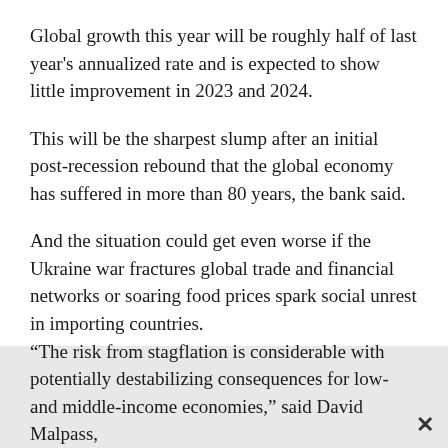Global growth this year will be roughly half of last year’s annualized rate and is expected to show little improvement in 2023 and 2024.
This will be the sharpest slump after an initial post-recession rebound that the global economy has suffered in more than 80 years, the bank said.
And the situation could get even worse if the Ukraine war fractures global trade and financial networks or soaring food prices spark social social unrest in importing countries.
“The risk from stagflation is considerable with potentially destabilizing consequences for low- and middle-income economies,” said David Malpass,